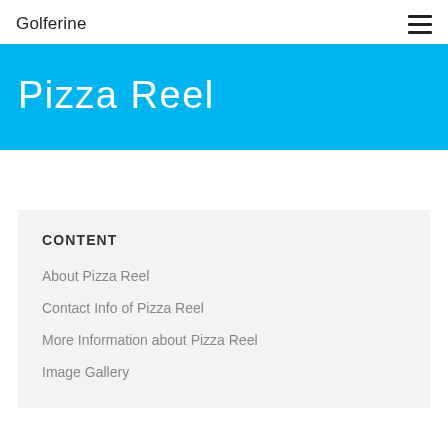Golferine
Pizza Reel
CONTENT
About Pizza Reel
Contact Info of Pizza Reel
More Information about Pizza Reel
Image Gallery